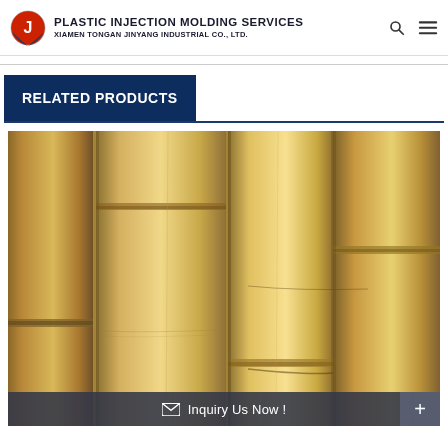PLASTIC INJECTION MOLDING SERVICES — XIAMEN TONGAN JINYANG INDUSTRIAL CO., LTD.
RELATED PRODUCTS
[Figure (photo): Close-up photograph of bamboo stalks showing natural tan/golden color with node rings, filling the image area.]
Inquiry Us Now!